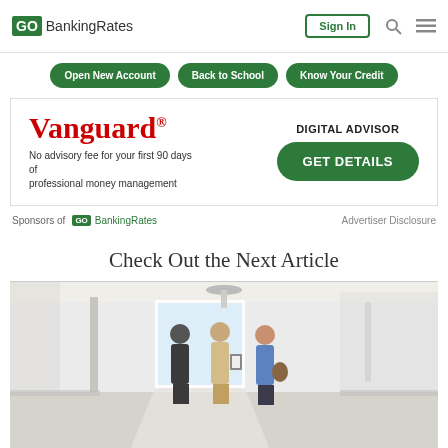GO BankingRates | Sign In
Open New Account  Back to School  Know Your Credit
[Figure (infographic): Vanguard Digital Advisor advertisement banner. Text: 'Vanguard® DIGITAL ADVISOR. No advisory fee for your first 90 days of professional money management. GET DETAILS']
Sponsors of GO BankingRates    Advertiser Disclosure
Check Out the Next Article
[Figure (photo): Interior photo of a bright white room or apartment with three people — two women and a man — appearing to tour or inspect the space. One person holds a folder or clipboard.]